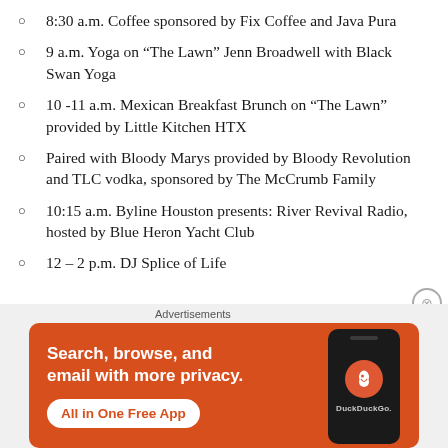8:30 a.m. Coffee sponsored by Fix Coffee and Java Pura
9 a.m. Yoga on “The Lawn” Jenn Broadwell with Black Swan Yoga
10 -11 a.m. Mexican Breakfast Brunch on “The Lawn” provided by Little Kitchen HTX
Paired with Bloody Marys provided by Bloody Revolution and TLC vodka, sponsored by The McCrumb Family
10:15 a.m. Byline Houston presents: River Revival Radio, hosted by Blue Heron Yacht Club
12 – 2 p.m. DJ Splice of Life
[Figure (screenshot): DuckDuckGo advertisement banner with orange background showing 'Search, browse, and email with more privacy. All in One Free App' with a phone mockup and DuckDuckGo logo]